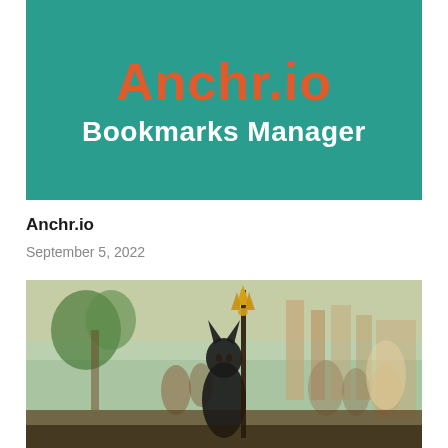[Figure (screenshot): Teal/green background banner image with 'Anchr.io' in large orange-red bold text and 'Bookmarks Manager' in white bold text below it]
Anchr.io
September 5, 2022
[Figure (photo): Photograph of an ancient Egyptian-themed scene with a dog/Anubis statue or character in the foreground holding a gold-tipped staff, with blurred crowd and architectural elements in the background]